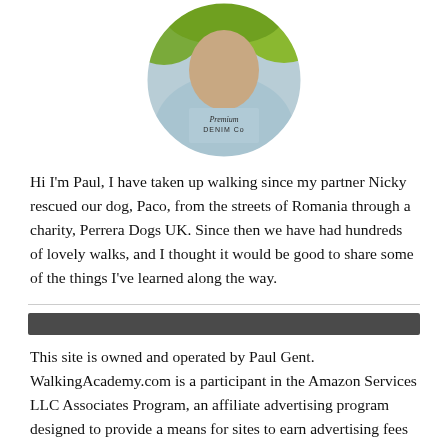[Figure (photo): Circular cropped photo of a person wearing a light blue 'Premium Denim Co' t-shirt, with green foliage in the background.]
Hi I'm Paul, I have taken up walking since my partner Nicky rescued our dog, Paco, from the streets of Romania through a charity, Perrera Dogs UK. Since then we have had hundreds of lovely walks, and I thought it would be good to share some of the things I've learned along the way.
This site is owned and operated by Paul Gent. WalkingAcademy.com is a participant in the Amazon Services LLC Associates Program, an affiliate advertising program designed to provide a means for sites to earn advertising fees by advertising and linking to